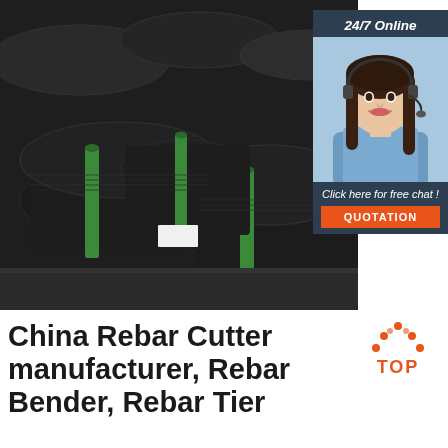[Figure (photo): Bundles of black steel wire/rebar coils stacked in a warehouse, bound with green straps]
[Figure (infographic): 24/7 Online chat widget with a smiling female customer service agent wearing a headset, dark blue background, 'Click here for free chat!' text, and an orange QUOTATION button]
[Figure (logo): Orange TOP logo with house/dots icon above the text TOP]
China Rebar Cutter manufacturer, Rebar Bender, Rebar Tier